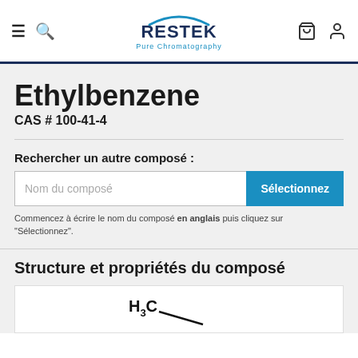[Figure (logo): Restek Pure Chromatography logo with hamburger menu, search icon, cart icon, and user icon in navigation header]
Ethylbenzene
CAS # 100-41-4
Rechercher un autre composé :
Commencez à écrire le nom du composé en anglais puis cliquez sur "Sélectionnez".
Structure et propriétés du composé
[Figure (illustration): Partial chemical structure of ethylbenzene showing H3C- group]